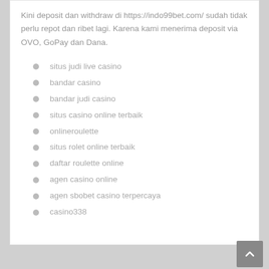Kini deposit dan withdraw di https://indo99bet.com/ sudah tidak perlu repot dan ribet lagi. Karena kami menerima deposit via OVO, GoPay dan Dana.
situs judi live casino
bandar casino
bandar judi casino
situs casino online terbaik
onlineroulette
situs rolet online terbaik
daftar roulette online
agen casino online
agen sbobet casino terpercaya
casino338